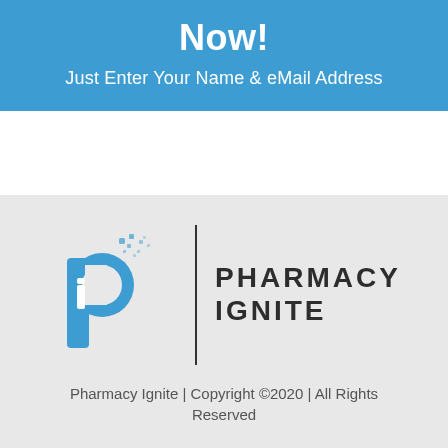Now!
Just Enter Your Name & eMail Address
[Figure (logo): Pharmacy Ignite logo: blue stylized letter P with dotted spray pattern and lowercase i, followed by vertical divider line and text PHARMACY IGNITE in bold dark letters]
Pharmacy Ignite | Copyright ©2020 | All Rights Reserved